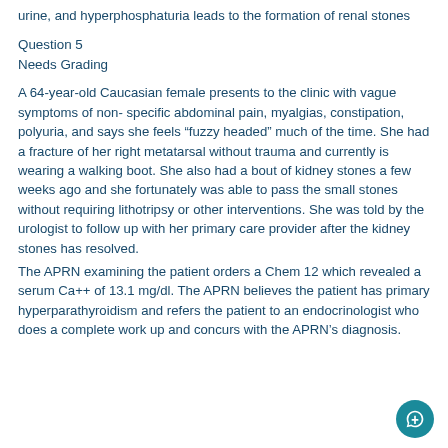urine, and hyperphosphaturia leads to the formation of renal stones
Question 5
Needs Grading
A 64-year-old Caucasian female presents to the clinic with vague symptoms of non- specific abdominal pain, myalgias, constipation, polyuria, and says she feels “fuzzy headed” much of the time. She had a fracture of her right metatarsal without trauma and currently is wearing a walking boot. She also had a bout of kidney stones a few weeks ago and she fortunately was able to pass the small stones without requiring lithotripsy or other interventions. She was told by the urologist to follow up with her primary care provider after the kidney stones has resolved.
The APRN examining the patient orders a Chem 12 which revealed a serum Ca++ of 13.1 mg/dl. The APRN believes the patient has primary hyperparathyroidism and refers the patient to an endocrinologist who does a complete work up and concurs with the APRN’s diagnosis.